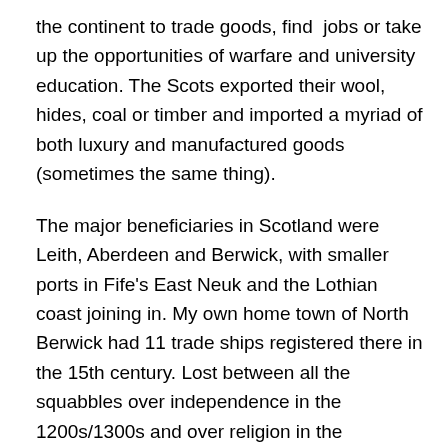the continent to trade goods, find jobs or take up the opportunities of warfare and university education. The Scots exported their wool, hides, coal or timber and imported a myriad of both luxury and manufactured goods (sometimes the same thing).
The major beneficiaries in Scotland were Leith, Aberdeen and Berwick, with smaller ports in Fife's East Neuk and the Lothian coast joining in. My own home town of North Berwick had 11 trade ships registered there in the 15th century. Lost between all the squabbles over independence in the 1200s/1300s and over religion in the 1500s/1600s, the 1400s were actually a time of growth and prosperity in Scotland. While England was engrossed in its Wars of the Roses, Scotland became relatively affluent on its trade.